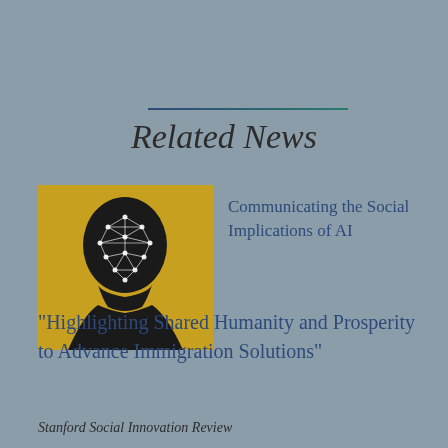Related News
[Figure (illustration): Silhouette of a human head profile against a golden/yellow background with a geometric mesh/wireframe overlay on the face, representing AI facial recognition or social implications of AI]
Communicating the Social Implications of AI
"Highlighting Shared Humanity and Prosperity to Advance Immigration Solutions"
Stanford Social Innovation Review